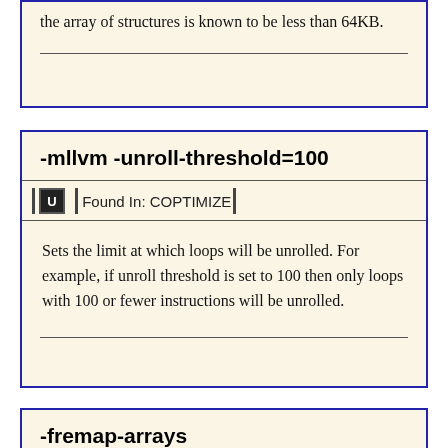the array of structures is known to be less than 64KB.
-mllvm -unroll-threshold=100
Found In: COPTIMIZE
Sets the limit at which loops will be unrolled. For example, if unroll threshold is set to 100 then only loops with 100 or fewer instructions will be unrolled.
-fremap-arrays
Found In: COPTIMIZE
This option enables an optimization that